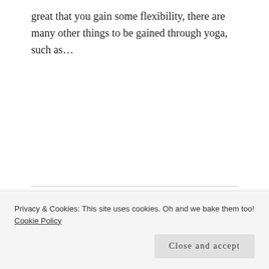great that you gain some flexibility, there are many other things to be gained through yoga, such as...
READ MORE
Filed Under: Beyond The Kitchen, Lifestyle, Soul Food
LOVE DOESN'T HURT, THE EGO DOES
Privacy & Cookies: This site uses cookies. Oh and we bake them too! Cookie Policy
Close and accept